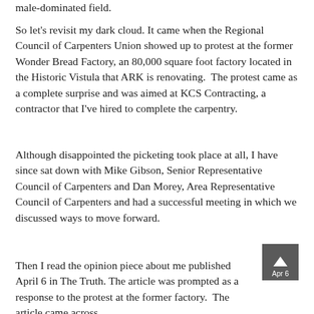male-dominated field.
So let’s revisit my dark cloud. It came when the Regional Council of Carpenters Union showed up to protest at the former Wonder Bread Factory, an 80,000 square foot factory located in the Historic Vistula that ARK is renovating.  The protest came as a complete surprise and was aimed at KCS Contracting, a contractor that I’ve hired to complete the carpentry.
Although disappointed the picketing took place at all, I have since sat down with Mike Gibson, Senior Representative Council of Carpenters and Dan Morey, Area Representative Council of Carpenters and had a successful meeting in which we discussed ways to move forward.
Then I read the opinion piece about me published April 6 in The Truth. The article was prompted as a response to the protest at the former factory.  The article came across